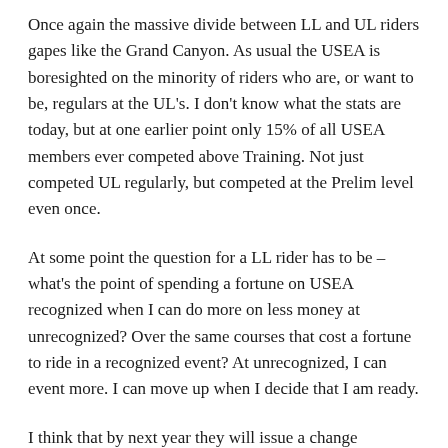Once again the massive divide between LL and UL riders gapes like the Grand Canyon. As usual the USEA is boresighted on the minority of riders who are, or want to be, regulars at the UL's. I don't know what the stats are today, but at one earlier point only 15% of all USEA members ever competed above Training. Not just competed UL regularly, but competed at the Prelim level even once.
At some point the question for a LL rider has to be – what's the point of spending a fortune on USEA recognized when I can do more on less money at unrecognized? Over the same courses that cost a fortune to ride in a recognized event? At unrecognized, I can event more. I can move up when I decide that I am ready.
I think that by next year they will issue a change lowering the 10 MER requirements for the LL's, as they often do with such rule changes. That requirement is just not do-able or affordable in a reasonable amount of time by the huge number of LL riders who only event through the USEA 4-6 times a year or less, anyway. But